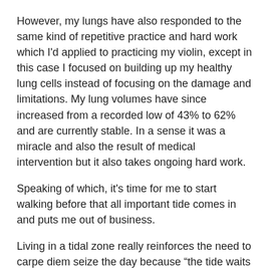However, my lungs have also responded to the same kind of repetitive practice and hard work which I'd applied to practicing my violin, except in this case I focused on building up my healthy lung cells instead of focusing on the damage and limitations. My lung volumes have since increased from a recorded low of 43% to 62% and are currently stable. In a sense it was a miracle and also the result of medical intervention but it also takes ongoing hard work.
Speaking of which, it's time for me to start walking before that all important tide comes in and puts me out of business.
Living in a tidal zone really reinforces the need to carpe diem seize the day because “the tide waits for no (hu)man.”
Xx Rowena
PS When school goes back next week, I'll be having to